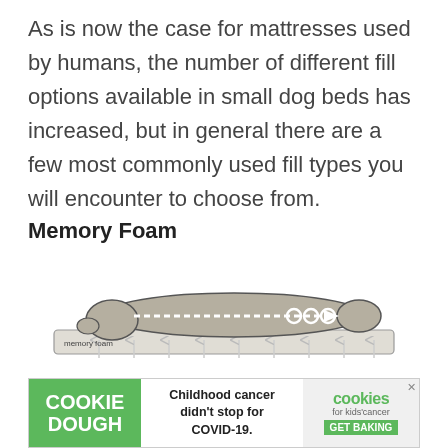As is now the case for mattresses used by humans, the number of different fill options available in small dog beds has increased, but in general there are a few most commonly used fill types you will encounter to choose from.
Memory Foam
[Figure (illustration): Diagram of a dog lying on a memory foam mattress, showing the foam conforming to the dog's body with upward arrows indicating pressure support. Text label reads 'memory foam'.]
Some pet beds use memory foam, which you
[Figure (other): Advertisement banner: Cookie Dough brand ad with text 'Childhood cancer didn't stop for COVID-19.' and cookies for kids cancer logo with 'GET BAKING' button.]